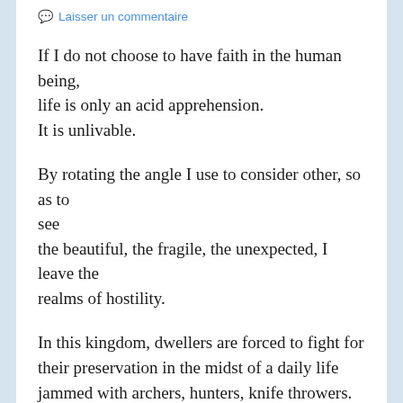Laisser un commentaire
If I do not choose to have faith in the human being, life is only an acid apprehension.
It is unlivable.
By rotating the angle I use to consider other, so as to see
the beautiful, the fragile, the unexpected, I leave the realms of hostility.
In this kingdom, dwellers are forced to fight for their preservation in the midst of a daily life jammed with archers, hunters, knife throwers.
Crouched in the shadows, waiting for coming near